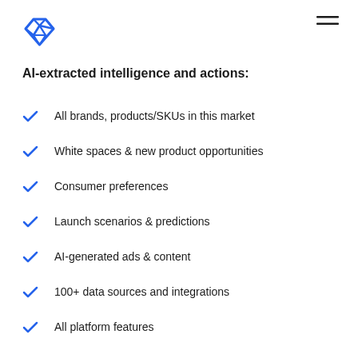AI-extracted intelligence and actions:
All brands, products/SKUs in this market
White spaces & new product opportunities
Consumer preferences
Launch scenarios & predictions
AI-generated ads & content
100+ data sources and integrations
All platform features